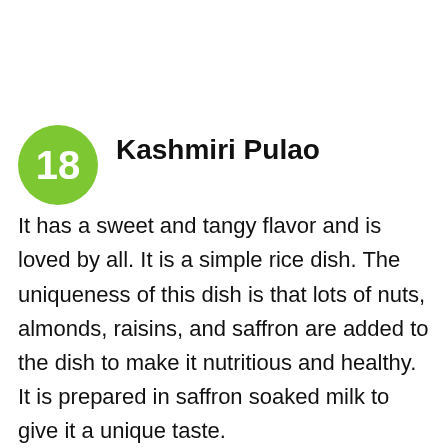18 Kashmiri Pulao
It has a sweet and tangy flavor and is loved by all. It is a simple rice dish. The uniqueness of this dish is that lots of nuts, almonds, raisins, and saffron are added to the dish to make it nutritious and healthy. It is prepared in saffron soaked milk to give it a unique taste.